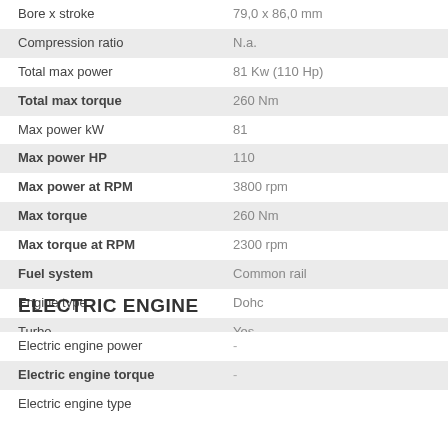| Specification | Value |
| --- | --- |
| Bore x stroke | 79,0 x 86,0 mm |
| Compression ratio | N.a. |
| Total max power | 81 Kw (110 Hp) |
| Total max torque | 260 Nm |
| Max power kW | 81 |
| Max power HP | 110 |
| Max power at RPM | 3800 rpm |
| Max torque | 260 Nm |
| Max torque at RPM | 2300 rpm |
| Fuel system | Common rail |
| Engine type | Dohc |
| Turbo | Yes |
| Catalyst | Yes |
| Fuel tank capacity | 52 liter |
ELECTRIC ENGINE
| Specification | Value |
| --- | --- |
| Electric engine power | - |
| Electric engine torque | - |
| Electric engine type |  |